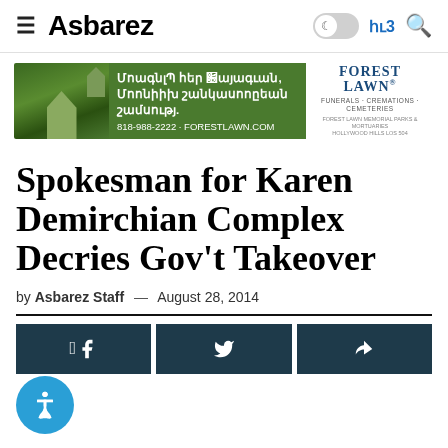Asbarez — ՀU3 (navigation bar with hamburger menu, dark mode toggle, language switcher, search)
[Figure (photo): Forest Lawn advertisement banner with Armenian text: Մոաgnlp Ձեr Սայasunն, Մtofi հanastunptsան hamsup: 818-988-2222 · ForestLawn.com, with church/cemetery photo on left and Forest Lawn logo on right]
Spokesman for Karen Demirchian Complex Decries Gov't Takeover
by Asbarez Staff — August 28, 2014
Social share buttons: Facebook, Twitter, Share